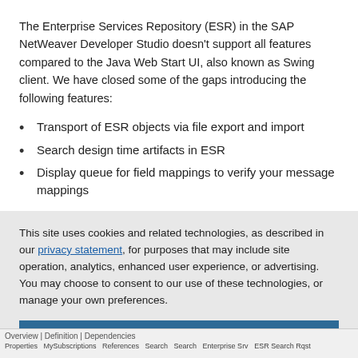The Enterprise Services Repository (ESR) in the SAP NetWeaver Developer Studio doesn't support all features compared to the Java Web Start UI, also known as Swing client. We have closed some of the gaps introducing the following features:
Transport of ESR objects via file export and import
Search design time artifacts in ESR
Display queue for field mappings to verify your message mappings
This site uses cookies and related technologies, as described in our privacy statement, for purposes that may include site operation, analytics, enhanced user experience, or advertising. You may choose to consent to our use of these technologies, or manage your own preferences.
Accept Cookies
More Information
Privacy Policy | Powered by: TrustArc